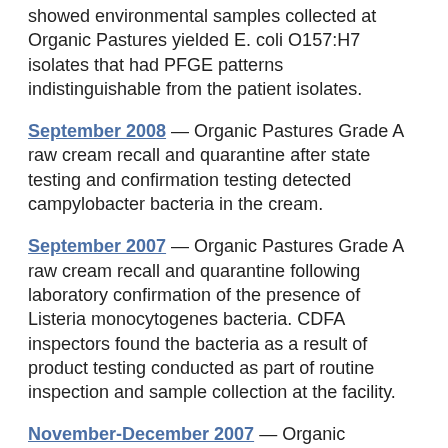showed environmental samples collected at Organic Pastures yielded E. coli O157:H7 isolates that had PFGE patterns indistinguishable from the patient isolates.
September 2008 — Organic Pastures Grade A raw cream recall and quarantine after state testing and confirmation testing detected campylobacter bacteria in the cream.
September 2007 — Organic Pastures Grade A raw cream recall and quarantine following laboratory confirmation of the presence of Listeria monocytogenes bacteria. CDFA inspectors found the bacteria as a result of product testing conducted as part of routine inspection and sample collection at the facility.
November-December 2007 — Organic Pastures cows